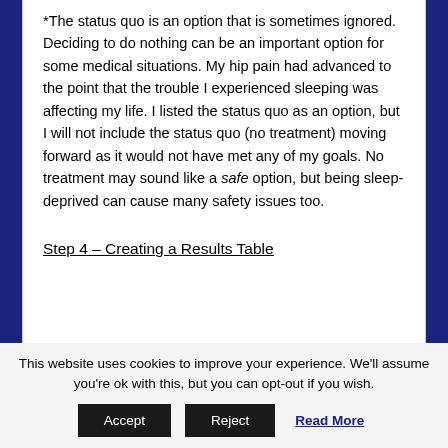*The status quo is an option that is sometimes ignored. Deciding to do nothing can be an important option for some medical situations. My hip pain had advanced to the point that the trouble I experienced sleeping was affecting my life. I listed the status quo as an option, but I will not include the status quo (no treatment) moving forward as it would not have met any of my goals. No treatment may sound like a safe option, but being sleep-deprived can cause many safety issues too.
Step 4 – Creating a Results Table
This website uses cookies to improve your experience. We'll assume you're ok with this, but you can opt-out if you wish.